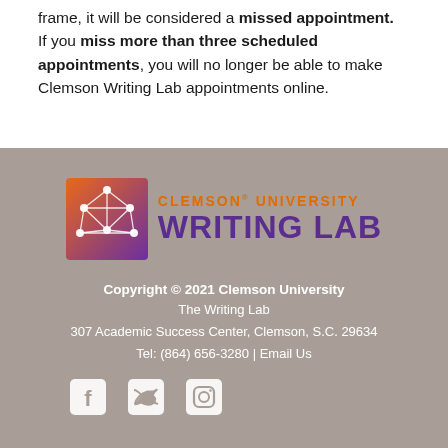frame, it will be considered a missed appointment. If you miss more than three scheduled appointments, you will no longer be able to make Clemson Writing Lab appointments online.
[Figure (logo): Clemson University Writing Lab logo: orange/purple gradient square icon with network graph, 'CLEMSON UNIVERSITY' in orange, 'WRITING LAB' in large purple bold text]
Copyright © 2021 Clemson University
The Writing Lab
307 Academic Success Center, Clemson, S.C. 29634
Tel: (864) 656-3280 | Email Us